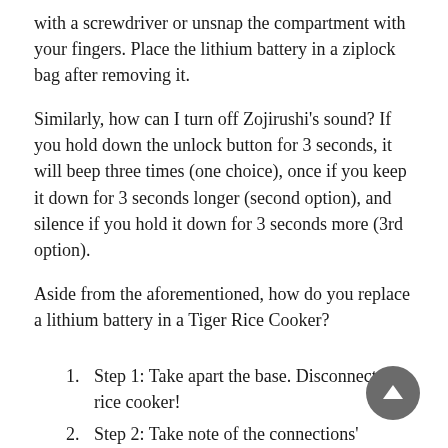with a screwdriver or unsnap the compartment with your fingers. Place the lithium battery in a ziplock bag after removing it.
Similarly, how can I turn off Zojirushi's sound? If you hold down the unlock button for 3 seconds, it will beep three times (one choice), once if you keep it down for 3 seconds longer (second option), and silence if you hold it down for 3 seconds more (3rd option).
Aside from the aforementioned, how do you replace a lithium battery in a Tiger Rice Cooker?
Step 1: Take apart the base. Disconnect the rice cooker!
Step 2: Take note of the connections' specifics.